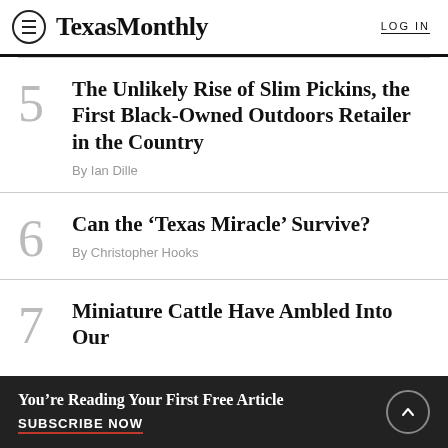TexasMonthly  LOG IN
5
The Unlikely Rise of Slim Pickins, the First Black-Owned Outdoors Retailer in the Country
By Ian Dille
6
Can the ‘Texas Miracle’ Survive?
By Christopher Hooks
7
Miniature Cattle Have Ambled Into Our
You’re Reading Your First Free Article
SUBSCRIBE NOW